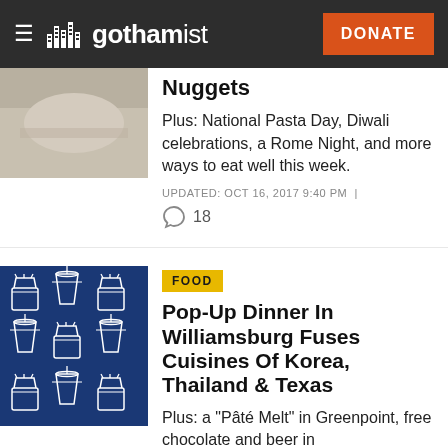gothamist | DONATE
Nuggets
Plus: National Pasta Day, Diwali celebrations, a Rome Night, and more ways to eat well this week.
UPDATED: OCT 16, 2017 9:40 PM | 18
[Figure (photo): Food photo thumbnail (partially visible at top left)]
FOOD
Pop-Up Dinner In Williamsburg Fuses Cuisines Of Korea, Thailand & Texas
[Figure (illustration): Blue background illustration with white line-art drawings of french fry containers and drink cups arranged in a pattern]
Plus: a "Pâté Melt" in Greenpoint, free chocolate and beer in